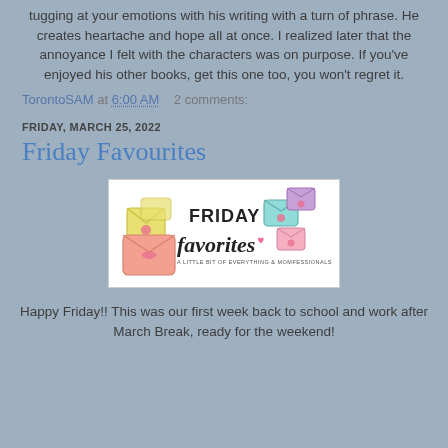tugging at your emotions with his writing with a turn of phrase. He creates heartache and hope all at once. I realized later that the annoyance I felt with the characters was on purpose. If you've enjoyed his other books, get this one too, you won't regret it.
TorontoSAM at 6:00 AM   2 comments:
FRIDAY, MARCH 25, 2022
Friday Favourites
[Figure (illustration): Friday Favorites logo with colorful chat bubble envelopes with hearts and text reading 'Friday favorites - A little bit of everything & momfessionals']
Happy Friday!! This was our first week back to school and work after March Break, ready for the weekend!